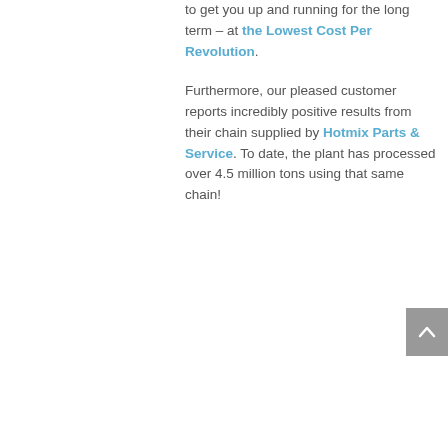to get you up and running for the long term – at the Lowest Cost Per Revolution. Furthermore, our pleased customer reports incredibly positive results from their chain supplied by Hotmix Parts & Service. To date, the plant has processed over 4.5 million tons using that same chain!